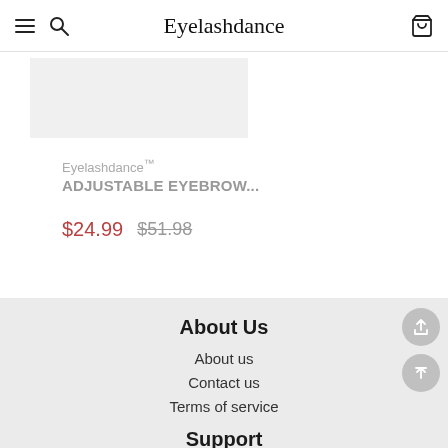Eyelashdance
[Figure (screenshot): Product image placeholder (light gray rectangle)]
Eyelashdance™
ADJUSTABLE EYEBROW...
$24.99  $51.98
About Us
About us
Contact us
Terms of service
Support
Privacy Policy